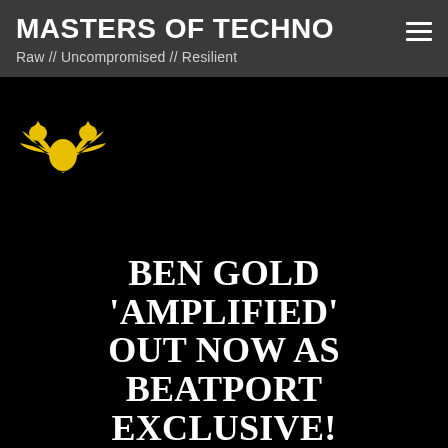MASTERS OF TECHNO
Raw // Uncompromised // Resilient
[Figure (logo): Yellow double-headed eagle logo on black background, Masters of Techno branding]
BEN GOLD 'AMPLIFIED' OUT NOW AS BEATPORT EXCLUSIVE!